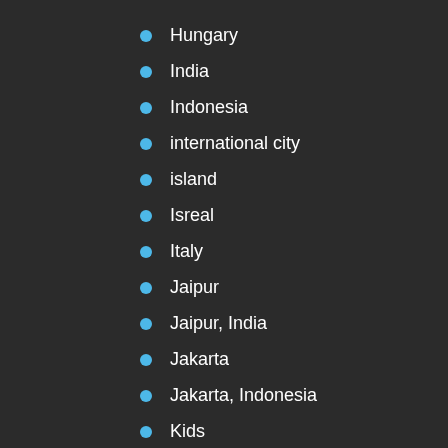Hungary
India
Indonesia
international city
island
Isreal
Italy
Jaipur
Jaipur, India
Jakarta
Jakarta, Indonesia
Kids
Kraków
Krakow